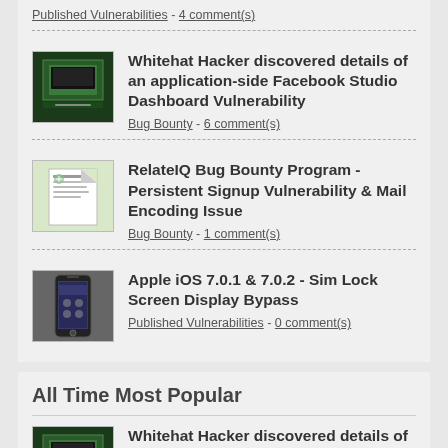Published Vulnerabilities - 4 comment(s)
Whitehat Hacker discovered details of an application-side Facebook Studio Dashboard Vulnerability
Bug Bounty - 6 comment(s)
RelateIQ Bug Bounty Program - Persistent Signup Vulnerability & Mail Encoding Issue
Bug Bounty - 1 comment(s)
Apple iOS 7.0.1 & 7.0.2 - Sim Lock Screen Display Bypass
Published Vulnerabilities - 0 comment(s)
All Time Most Popular
Whitehat Hacker discovered details of an application-side Facebook Studio Dashboard Vulnerability
Bug Bounty - 6 comment(s)